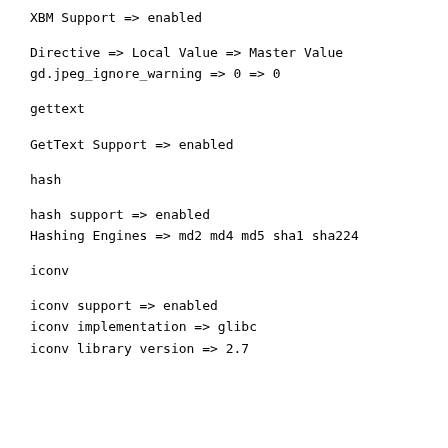XBM Support => enabled
Directive => Local Value => Master Value
gd.jpeg_ignore_warning => 0 => 0
gettext
GetText Support => enabled
hash
hash support => enabled
Hashing Engines => md2 md4 md5 sha1 sha224
iconv
iconv support => enabled
iconv implementation => glibc
iconv library version => 2.7